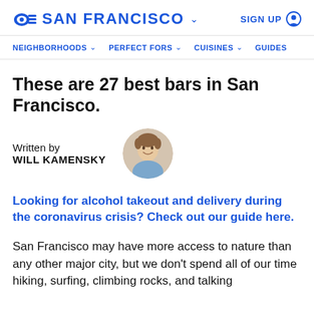SAN FRANCISCO   SIGN UP
NEIGHBORHOODS   PERFECT FORS   CUISINES   GUIDES
These are 27 best bars in San Francisco.
Written by
WILL KAMENSKY
[Figure (photo): Circular headshot photo of Will Kamensky, a young man with wavy brown hair, smiling, wearing a light blue shirt.]
Looking for alcohol takeout and delivery during the coronavirus crisis? Check out our guide here.
San Francisco may have more access to nature than any other major city, but we don’t spend all of our time hiking, surfing, climbing rocks, and talking about...